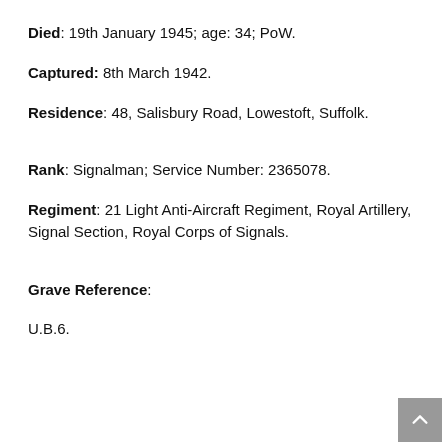Died: 19th January 1945; age: 34; PoW.
Captured: 8th March 1942.
Residence: 48, Salisbury Road, Lowestoft, Suffolk.
Rank: Signalman; Service Number: 2365078.
Regiment: 21 Light Anti-Aircraft Regiment, Royal Artillery, Signal Section, Royal Corps of Signals.
Grave Reference:
U.B.6.